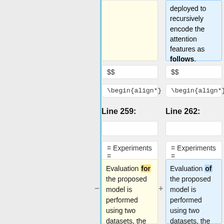deployed to recursively encode the attention features as follows.
$$
$$
\begin{align*}
\begin{align*}
Line 259:
Line 262:
= Experiments =
= Experiments =
Evaluation for the proposed model is performed using two datasets, the VQA dataset [1] and the COCO-QA dataset [2].
Evaluation of the proposed model is performed using two datasets, the VQA dataset [1] and the COCO-QA dataset [2].